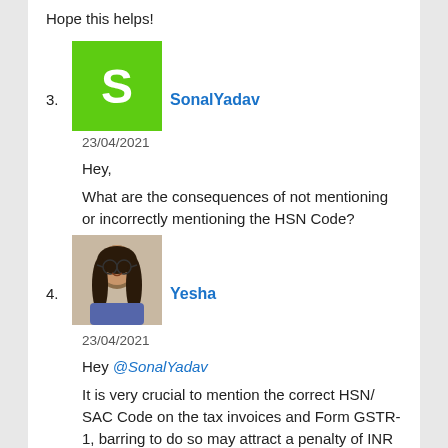Hope this helps!
[Figure (illustration): Green square avatar with white letter S, representing user SonalYadav]
3. SonalYadav
23/04/2021
Hey,

What are the consequences of not mentioning or incorrectly mentioning the HSN Code?
[Figure (photo): Profile photo of Yesha, a woman with glasses and long hair]
4. Yesha
23/04/2021
Hey @SonalYadav

It is very crucial to mention the correct HSN/ SAC Code on the tax invoices and Form GSTR-1, barring to do so may attract a penalty of INR 50,000 (INR 25,000 each for CGST and SGST) for non-